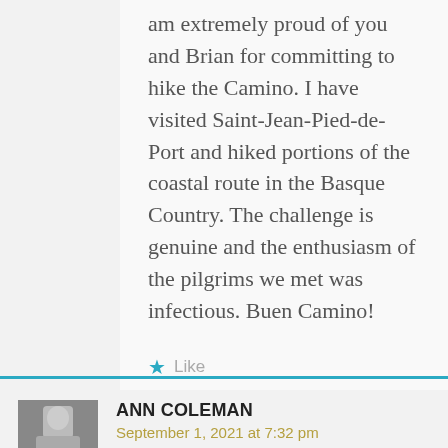am extremely proud of you and Brian for committing to hike the Camino. I have visited Saint-Jean-Pied-de-Port and hiked portions of the coastal route in the Basque Country. The challenge is genuine and the enthusiasm of the pilgrims we met was infectious. Buen Camino!
★ Like
REPLY
ANN COLEMAN
September 1, 2021 at 7:32 pm